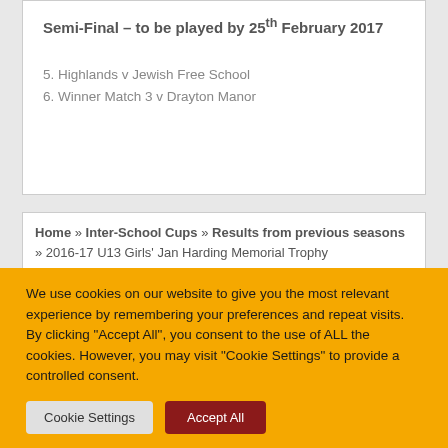Semi-Final – to be played by 25th February 2017
5. Highlands v Jewish Free School
6. Winner Match 3 v Drayton Manor
Home » Inter-School Cups » Results from previous seasons » 2016-17 U13 Girls' Jan Harding Memorial Trophy
We use cookies on our website to give you the most relevant experience by remembering your preferences and repeat visits. By clicking "Accept All", you consent to the use of ALL the cookies. However, you may visit "Cookie Settings" to provide a controlled consent.
Cookie Settings | Accept All